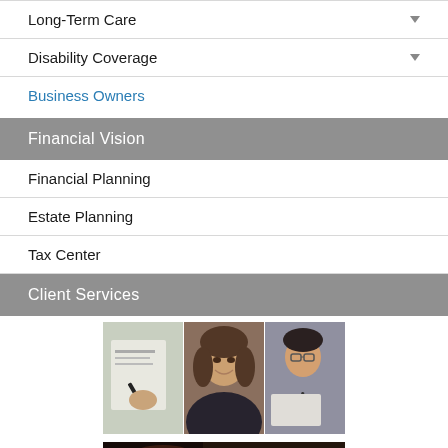Long-Term Care
Disability Coverage
Business Owners
Financial Vision
Financial Planning
Estate Planning
Tax Center
Client Services
[Figure (photo): Collage of business professionals: hand signing document, smiling woman, person writing]
[Figure (photo): Partial bottom image, dark toned photo]